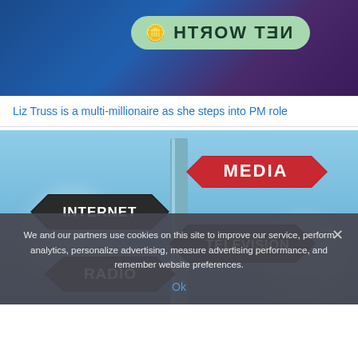[Figure (photo): Top banner image showing two women with a mirrored/reflected 'NET WORTH' badge with coin icon on a teal pill-shaped background, overlaid on a blue/purple background]
Liz Truss is a multi-millionaire as she steps into PM role
[Figure (photo): Directional signpost image against blue sky showing signs labeled MEDIA (red), INTERNET, TELEVISION, RADIO in black with white text]
We and our partners use cookies on this site to improve our service, perform analytics, personalize advertising, measure advertising performance, and remember website preferences.
Ok